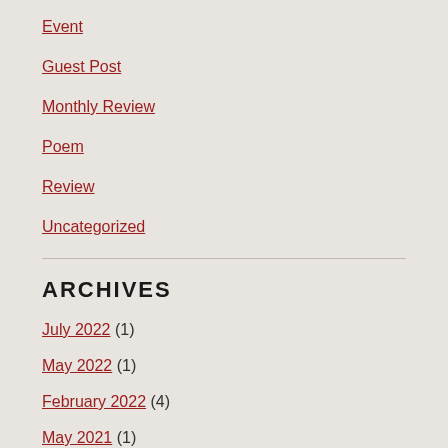Event
Guest Post
Monthly Review
Poem
Review
Uncategorized
ARCHIVES
July 2022 (1)
May 2022 (1)
February 2022 (4)
May 2021 (1)
February 2021 (2)